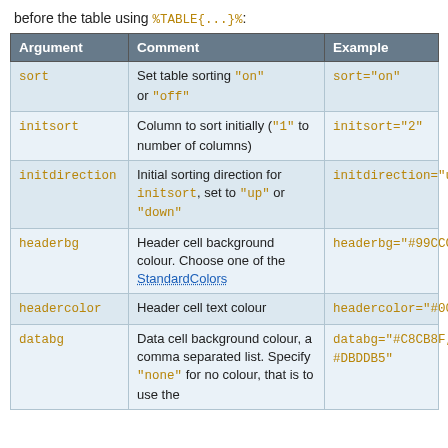before the table using %TABLE{...}%:
| Argument | Comment | Example |
| --- | --- | --- |
| sort | Set table sorting "on" or "off" | sort="on" |
| initsort | Column to sort initially ("1" to number of columns) | initsort="2" |
| initdirection | Initial sorting direction for initsort, set to "up" or "down" | initdirection="up" |
| headerbg | Header cell background colour. Choose one of the StandardColors | headerbg="#99CCCC" |
| headercolor | Header cell text colour | headercolor="#0000CC" |
| databg | Data cell background colour, a comma separated list. Specify "none" for no colour, that is to use the | databg="#C8CB8F, #DBDDB5" |